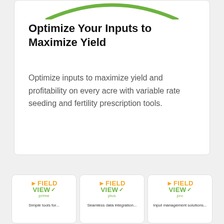[Figure (illustration): Green arc/circle graphic at top of white card]
Optimize Your Inputs to Maximize Yield
Optimize inputs to maximize yield and profitability on every acre with variable rate seeding and fertility prescription tools.
[Figure (logo): FieldView Prime logo card]
[Figure (logo): FieldView Plus logo card]
[Figure (logo): FieldView Pro logo card]
Simple tools for...
Seamless data integration...
Input management solutions...